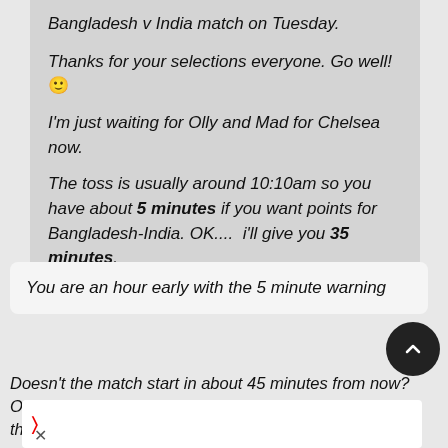Bangladesh v India match on Tuesday.
Thanks for your selections everyone. Go well! 🙂
I'm just waiting for Olly and Mad for Chelsea now.
The toss is usually around 10:10am so you have about 5 minutes if you want points for Bangladesh-India. OK....  i'll give you 35 minutes.
You are an hour early with the 5 minute warning
Doesn't the match start in about 45 minutes from now? Or ha the BCCI changed that too?